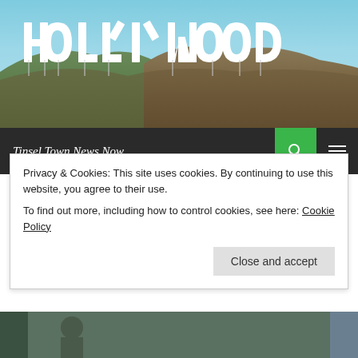[Figure (photo): Hollywood sign on hillside with blue sky background]
Tinsel Town News Now
CINEMATOGRAPHER, FEATURE FILM, FILM, FILM AND TV CREW INTERVIEWS, PHOTOGRAPHERS, UNCATEGORIZED
Q & A WITH CINEMATOGRAPHER ROSS RADCLIFFE
APRIL 5, 2016   VICTORIA SAYEG   1 COMMENT
Privacy & Cookies: This site uses cookies. By continuing to use this website, you agree to their use.
To find out more, including how to control cookies, see here: Cookie Policy
Close and accept
[Figure (photo): Partial photo of person at bottom of page]